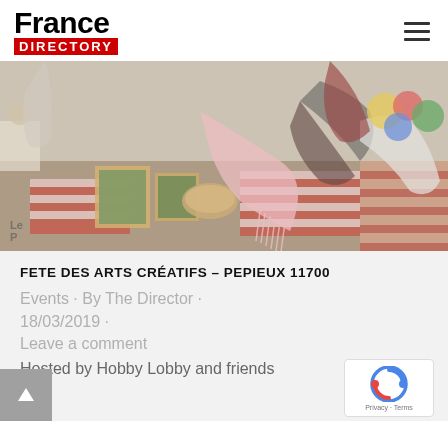France Directory
[Figure (photo): Photo of a crafts fair market stall with various handmade items, textiles, paintings and crafts displayed on tables.]
FETE DES ARTS CRÉATIFS – PEPIEUX 11700
Events · By The Director · 18/03/2019 · Leave a comment
Hosted by Hobby Lobby and friends